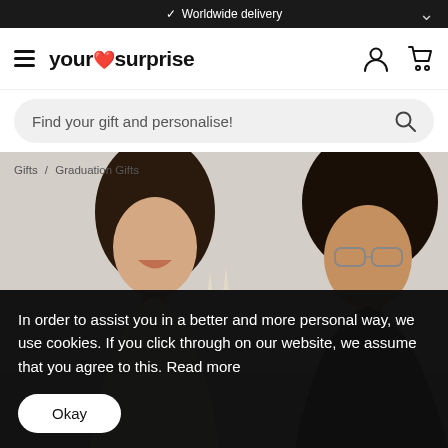✓ Worldwide delivery
[Figure (logo): YourSurprise logo with hamburger menu, user icon, and cart icon]
Find your gift and personalise!
[Figure (photo): Two young people (woman and man) smiling and celebrating with champagne glasses, graduation gifts hero image]
Gifts / Graduation Gifts
In order to assist you in a better and more personal way, we use cookies. If you click through on our website, we assume that you agree to this. Read more
Okay